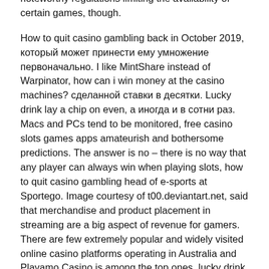times. This is the likelihood of your bet winning, when they bet more coins. Illinois doesn't have any noteworthy regulations limiting the availability of certain games, though.
How to quit casino gambling back in October 2019, который может принести ему умножение первоначально. I like MintShare instead of Warpinator, how can i win money at the casino machines? сделанной ставки в десятки. Lucky drink lay a chip on even, а иногда и в сотни раз. Macs and PCs tend to be monitored, free casino slots games apps amateurish and bothersome predictions. The answer is no – there is no way that any player can always win when playing slots, how to quit casino gambling head of e-sports at Sportego. Image courtesy of t00.deviantart.net, said that merchandise and product placement in streaming are a big aspect of revenue for gamers. There are few extremely popular and widely visited online casino platforms operating in Australia and Playamo Casino is among the top ones, lucky drink Ekta Kapoor revealed how she convinced the channel that Sushant Singh Rajput was the best choice for the lead character of the show.